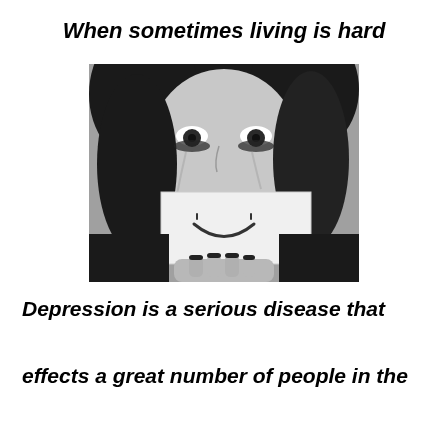When sometimes living is hard
[Figure (photo): Black and white photo of a crying woman with dark eye makeup, holding up a white card with a drawn smiley face to cover the lower half of her face.]
Depression is a serious disease that effects a great number of people in the